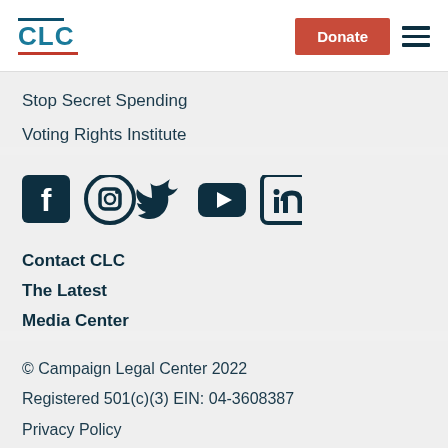CLC | Donate
Stop Secret Spending
Voting Rights Institute
[Figure (other): Social media icons row: Facebook, Instagram, Twitter, YouTube, LinkedIn]
Contact CLC
The Latest
Media Center
© Campaign Legal Center 2022
Registered 501(c)(3) EIN: 04-3608387
Privacy Policy